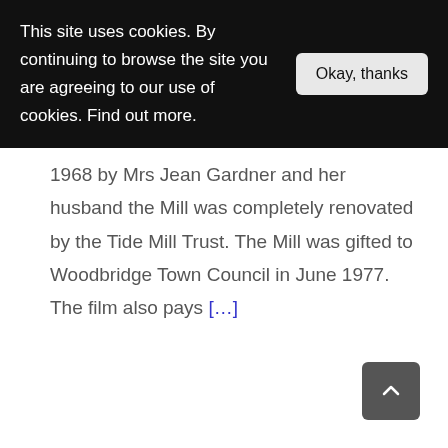This site uses cookies. By continuing to browse the site you are agreeing to our use of cookies. Find out more.
Okay, thanks
1968 by Mrs Jean Gardner and her husband the Mill was completely renovated by the Tide Mill Trust. The Mill was gifted to Woodbridge Town Council in June 1977. The film also pays [...]